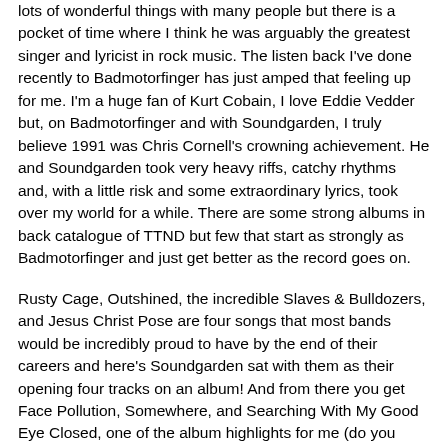lots of wonderful things with many people but there is a pocket of time where I think he was arguably the greatest singer and lyricist in rock music. The listen back I've done recently to Badmotorfinger has just amped that feeling up for me. I'm a huge fan of Kurt Cobain, I love Eddie Vedder but, on Badmotorfinger and with Soundgarden, I truly believe 1991 was Chris Cornell's crowning achievement. He and Soundgarden took very heavy riffs, catchy rhythms and, with a little risk and some extraordinary lyrics, took over my world for a while. There are some strong albums in back catalogue of TTND but few that start as strongly as Badmotorfinger and just get better as the record goes on.
Rusty Cage, Outshined, the incredible Slaves & Bulldozers, and Jesus Christ Pose are four songs that most bands would be incredibly proud to have by the end of their careers and here's Soundgarden sat with them as their opening four tracks on an album! And from there you get Face Pollution, Somewhere, and Searching With My Good Eye Closed, one of the album highlights for me (do you hear a cow?). I mean it's almost Beatle-esque, it's what Lennon would be doing if he was born in a different era.